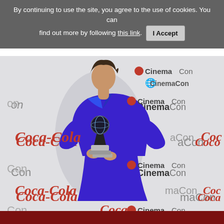By continuing to use the site, you agree to the use of cookies. You can find out more by following this link. I Accept
[Figure (photo): A woman in a blue dress holding a CinemaCon award trophy, standing in front of a CinemaCon and Coca-Cola step-and-repeat backdrop. She is smiling and wearing a royal blue wrap-style dress with long sleeves.]